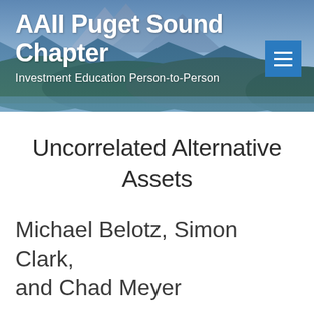AAII Puget Sound Chapter
Investment Education Person-to-Person
Uncorrelated Alternative Assets
Michael Belotz, Simon Clark, and Chad Meyer